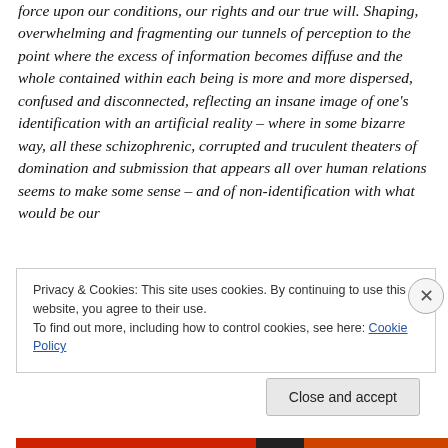force upon our conditions, our rights and our true will. Shaping, overwhelming and fragmenting our tunnels of perception to the point where the excess of information becomes diffuse and the whole contained within each being is more and more dispersed, confused and disconnected, reflecting an insane image of one's identification with an artificial reality – where in some bizarre way, all these schizophrenic, corrupted and truculent theaters of domination and submission that appears all over human relations seems to make some sense – and of non-identification with what would be our
Privacy & Cookies: This site uses cookies. By continuing to use this website, you agree to their use.
To find out more, including how to control cookies, see here: Cookie Policy